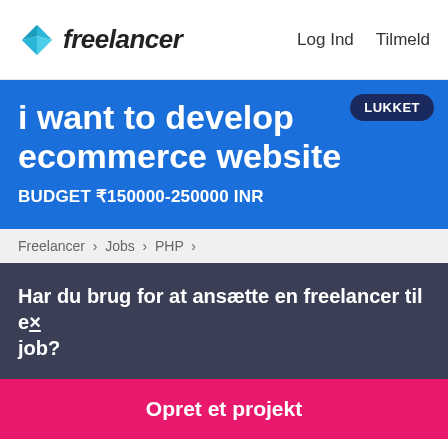freelancer   Log Ind   Tilmeld
i want to develop ecommerce website
LUKKET
BUDGET ₹150000-250000 INR
Freelancer › Jobs › PHP ›
Har du brug for at ansætte en freelancer til et job?
Opret et projekt